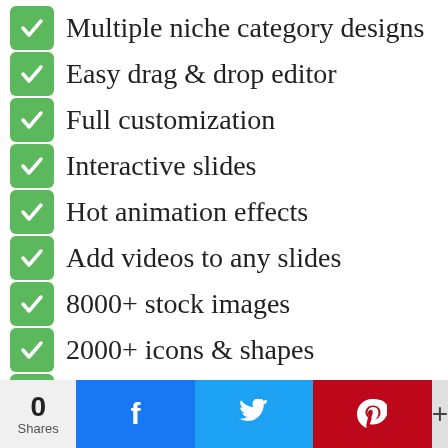Multiple niche category designs
Easy drag & drop editor
Full customization
Interactive slides
Hot animation effects
Add videos to any slides
8000+ stock images
2000+ icons & shapes
250+ HD backgrounds
Record voice over slides
Built-in audio recorder
In browser audio editing
Music studio library
0 Shares  [Facebook] [Twitter] [Pinterest] +